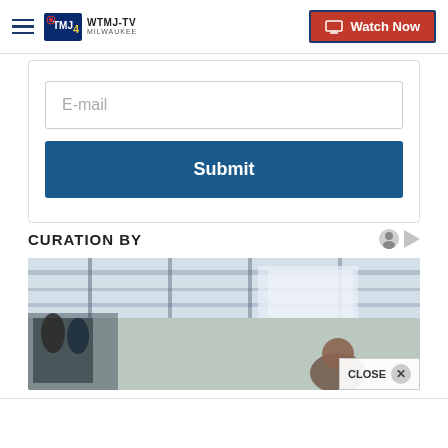[Figure (screenshot): WTMJ-TV Milwaukee navigation bar with hamburger menu, TMJ4 logo, and Watch Now button in red with blue border]
[Figure (screenshot): Email input field with placeholder text E-mail and a blue Submit button below it, inside a card container]
CURATION BY
[Figure (photo): Interior gym photo showing ceiling with metal bars and equipment, person visible at bottom right, with a CLOSE overlay button]
CLOSE